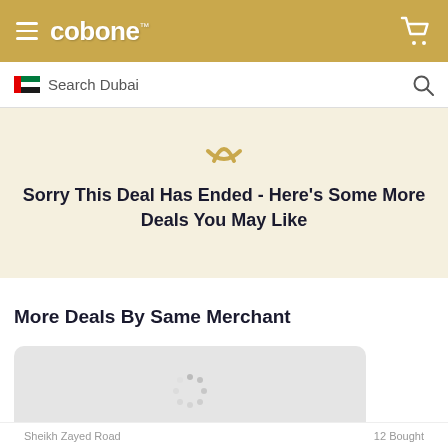cobone™
Search Dubai
Sorry This Deal Has Ended - Here's Some More Deals You May Like
More Deals By Same Merchant
[Figure (other): Loading spinner / deal card placeholder with grey background]
Sheikh Zayed Road    12 Bought